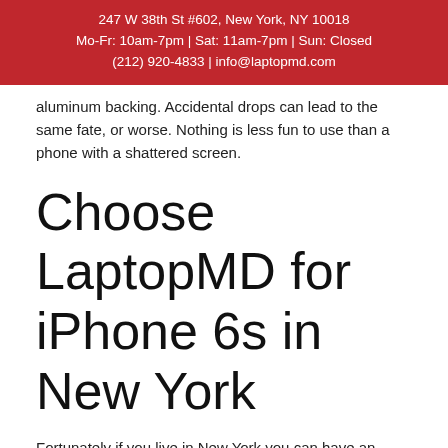247 W 38th St #602, New York, NY 10018
Mo-Fr: 10am-7pm | Sat: 11am-7pm | Sun: Closed
(212) 920-4833 | info@laptopmd.com
aluminum backing. Accidental drops can lead to the same fate, or worse. Nothing is less fun to use than a phone with a shattered screen.
Choose LaptopMD for iPhone 6s in New York
Fortunately if you live in New York you can have an iPhone 6s repaired. All technicians are trained with certificates. This allows them to repair some cell phones in as little as 15 minutes. With the business open 6 Days a week, you can always drop in with your iPhone 6s. While you wait to be individually serviced you can be provided with a free estimate for most of our work.